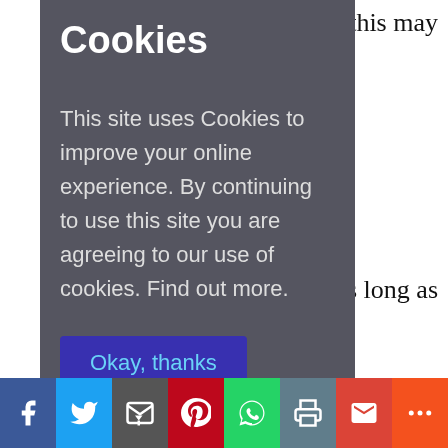, this may
g, as long as
em.
nove any
rous
tlery, etc.)
em into
Cookies
This site uses Cookies to improve your online experience. By continuing to use this site you are agreeing to our use of cookies. Find out more.
Okay, thanks
[Figure (screenshot): Social media share bar with icons for Facebook, Twitter, Email, Pinterest, WhatsApp, Print, Gmail, and More]